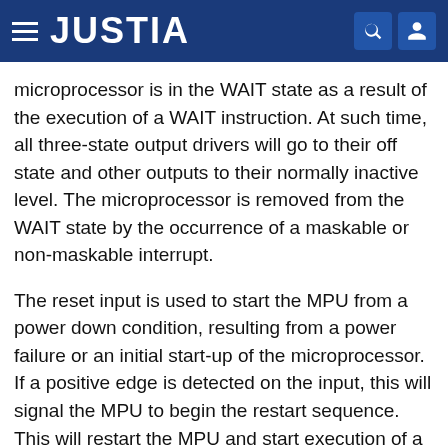JUSTIA
microprocessor is in the WAIT state as a result of the execution of a WAIT instruction. At such time, all three-state output drivers will go to their off state and other outputs to their normally inactive level. The microprocessor is removed from the WAIT state by the occurrence of a maskable or non-maskable interrupt.
The reset input is used to start the MPU from a power down condition, resulting from a power failure or an initial start-up of the microprocessor. If a positive edge is detected on the input, this will signal the MPU to begin the restart sequence. This will restart the MPU and start execution of a routine to initialize the microprocessor. All the higher order address lines will be forced high. For the restart, the last two (n-1, n) locations in this area will be used to load the program that is addressed by the program counter.